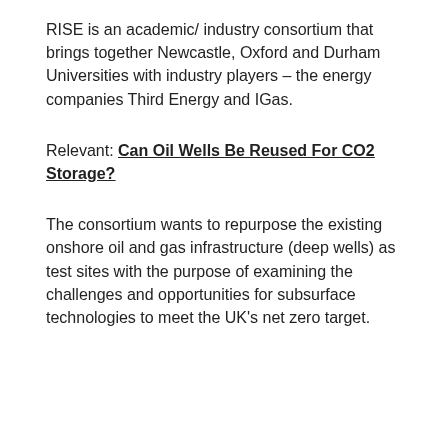RISE is an academic/ industry consortium that brings together Newcastle, Oxford and Durham Universities with industry players – the energy companies Third Energy and IGas.
Relevant: Can Oil Wells Be Reused For CO2 Storage?
The consortium wants to repurpose the existing onshore oil and gas infrastructure (deep wells) as test sites with the purpose of examining the challenges and opportunities for subsurface technologies to meet the UK's net zero target.